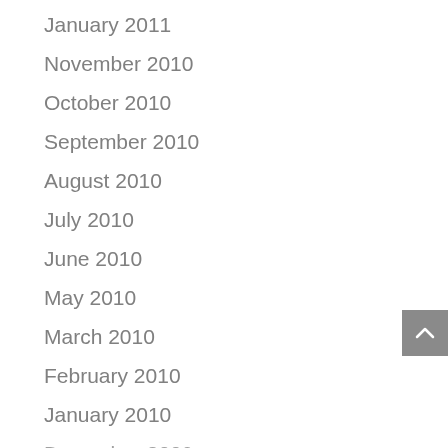January 2011
November 2010
October 2010
September 2010
August 2010
July 2010
June 2010
May 2010
March 2010
February 2010
January 2010
December 2009